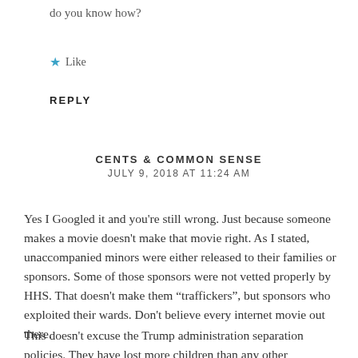do you know how?
★ Like
REPLY
CENTS & COMMON SENSE
JULY 9, 2018 AT 11:24 AM
Yes I Googled it and you're still wrong. Just because someone makes a movie doesn't make that movie right. As I stated, unaccompanied minors were either released to their families or sponsors. Some of those sponsors were not vetted properly by HHS. That doesn't make them “traffickers”, but sponsors who exploited their wards. Don't believe every internet movie out there.
This doesn't excuse the Trump administration separation policies. They have lost more children than any other